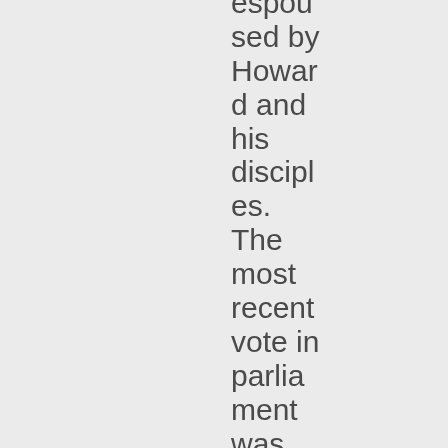espoused by Howard and his disciples. The most recent vote in parliament was 98 to 42 agains